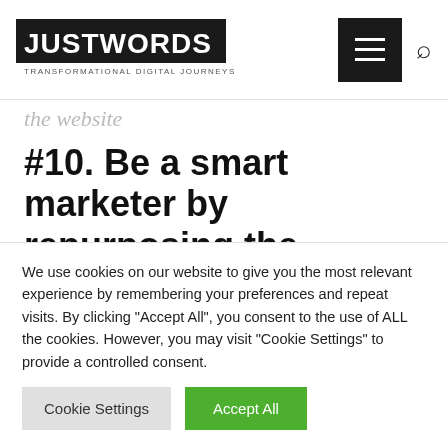JUSTWORDS - TRANSFORMATIONAL DIGITAL JOURNEYS
the website
#10. Be a smart marketer by repurposing the content
Content is a valuable part of any marketing strategy & repurposing the existing content
We use cookies on our website to give you the most relevant experience by remembering your preferences and repeat visits. By clicking "Accept All", you consent to the use of ALL the cookies. However, you may visit "Cookie Settings" to provide a controlled consent.
Cookie Settings | Accept All